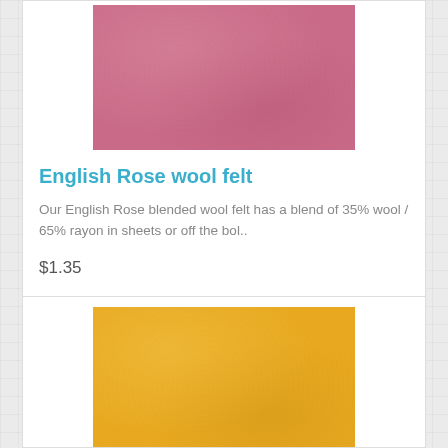[Figure (photo): English Rose wool felt fabric swatch — pink/rose colored textured material]
English Rose wool felt
Our English Rose blended wool felt has a blend of 35% wool / 65% rayon in sheets or off the bol..
$1.35
[Figure (photo): Yellow/golden wool felt fabric swatch — bright yellow textured material]